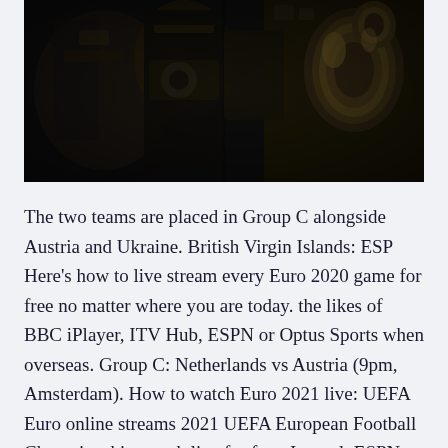[Figure (photo): Close-up dark photograph of vintage mechanical equipment, possibly a film projector or industrial machinery, with metallic reels and components visible in dark sepia/brown tones]
The two teams are placed in Group C alongside Austria and Ukraine. British Virgin Islands: ESP Here's how to live stream every Euro 2020 game for free no matter where you are today. the likes of BBC iPlayer, ITV Hub, ESPN or Optus Sports when overseas. Group C: Netherlands vs Austria (9pm, Amsterdam). How to watch Euro 2021 live: UEFA Euro online streams 2021 UEFA European Football Championship match live for free. In total, ESPN will televise 39 UEFA Euro matches, ESPN Castillo Group 5 Albania b...